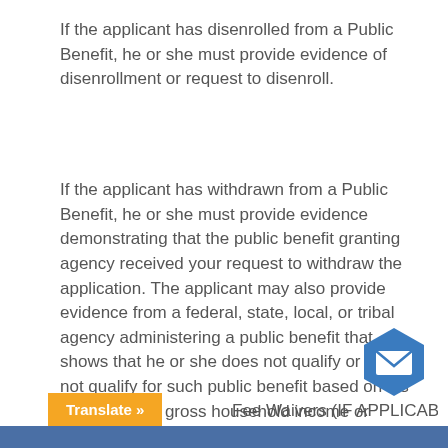If the applicant has disenrolled from a Public Benefit, he or she must provide evidence of disenrollment or request to disenroll.
If the applicant has withdrawn from a Public Benefit, he or she must provide evidence demonstrating that the public benefit granting agency received your request to withdraw the application. The applicant may also provide evidence from a federal, state, local, or tribal agency administering a public benefit that shows that he or she does not qualify or would not qualify for such public benefit based on his or her annual gross household income or prospective immigration status.
Fee Waivers (IF APPLICABLE): IF the